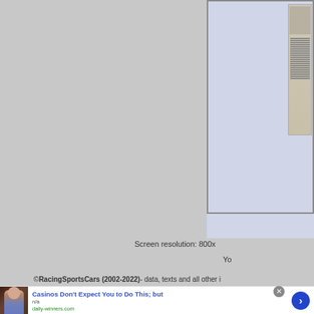[Figure (screenshot): Racing programme cover - The Gold Cup at Oulton Park, green cover with race car, 9 Great Races at 5 Top Circuits, April 19 & 20 1984, Official programme £1.00]
[Figure (screenshot): Second smaller programme image on right side]
Screen resolution: 800x
Yo
© RacingSportsCars (2002-2022) - data, texts and all other i
[Figure (photo): Advertisement photo of a person]
Casinos Don't Expect You to Do This; but
n/a
daily-winners.com